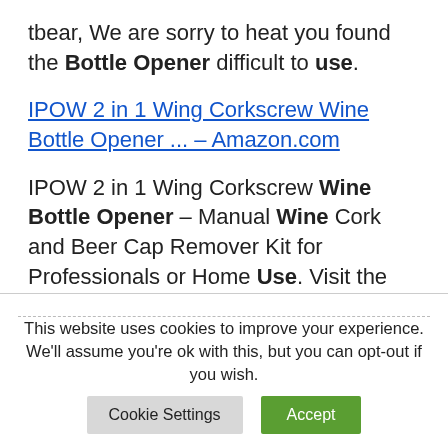tbear, We are sorry to heat you found the Bottle Opener difficult to use.
IPOW 2 in 1 Wing Corkscrew Wine Bottle Opener ... – Amazon.com
IPOW 2 in 1 Wing Corkscrew Wine Bottle Opener – Manual Wine Cork and Beer Cap Remover Kit for Professionals or Home Use. Visit the IPOW Store.
This website uses cookies to improve your experience. We'll assume you're ok with this, but you can opt-out if you wish.